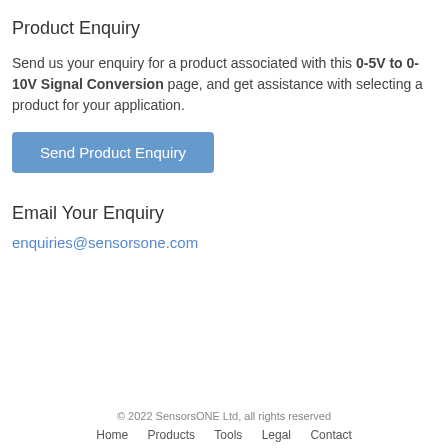Product Enquiry
Send us your enquiry for a product associated with this 0-5V to 0-10V Signal Conversion page, and get assistance with selecting a product for your application.
Send Product Enquiry
Email Your Enquiry
enquiries@sensorsone.com
© 2022 SensorsONE Ltd, all rights reserved
Home    Products    Tools    Legal    Contact